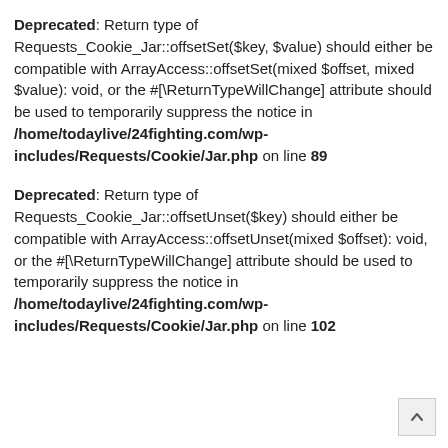Deprecated: Return type of Requests_Cookie_Jar::offsetSet($key, $value) should either be compatible with ArrayAccess::offsetSet(mixed $offset, mixed $value): void, or the #[\ReturnTypeWillChange] attribute should be used to temporarily suppress the notice in /home/todaylive/24fighting.com/wp-includes/Requests/Cookie/Jar.php on line 89
Deprecated: Return type of Requests_Cookie_Jar::offsetUnset($key) should either be compatible with ArrayAccess::offsetUnset(mixed $offset): void, or the #[\ReturnTypeWillChange] attribute should be used to temporarily suppress the notice in /home/todaylive/24fighting.com/wp-includes/Requests/Cookie/Jar.php on line 102